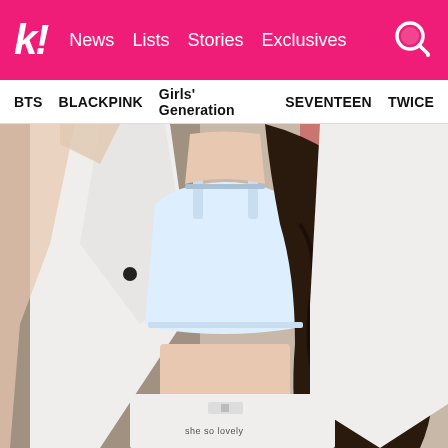k! News Lists Stories Exclusives
BTS  BLACKPINK  Girls' Generation  SEVENTEEN  TWICE
[Figure (photo): A K-pop female idol wearing a white halter crop top and open white shirt, with long dark wavy hair. She is wearing white high-waisted pants/skirt with 'she so lovely' text at the bottom. Background has red/warm lighting. Photo is cropped showing torso and partial upper body.]